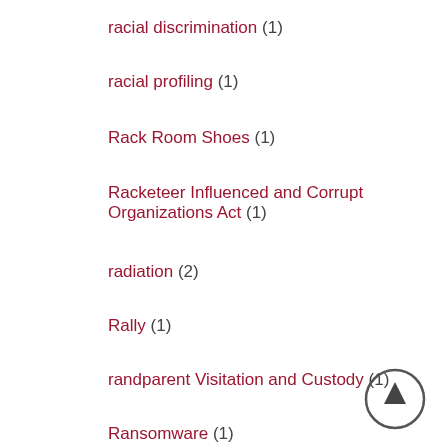racial discrimination (1)
racial profiling (1)
Rack Room Shoes (1)
Racketeer Influenced and Corrupt Organizations Act (1)
radiation (2)
Rally (1)
randparent Visitation and Custody (1)
Ransomware (1)
Rassismus (1)
RBG (1)
RCEP (1)
Real Estate (1)